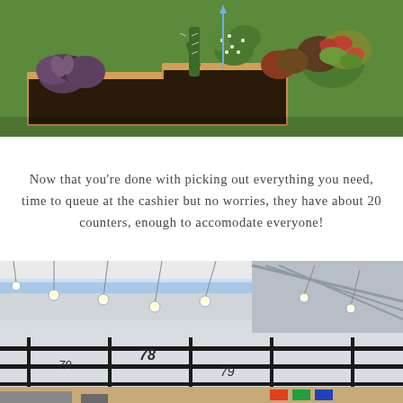[Figure (photo): Close-up photo of various succulents and cacti in wooden planter boxes on green artificial grass background. Plants include purple-tinted succulents, green cacti with spines, and red-tipped succulent rosettes.]
Now that you’re done with picking out everything you need, time to queue at the cashier but no worries, they have about 20 counters, enough to accomodate everyone!
[Figure (photo): Interior photo of a large retail store or supermarket showing checkout counter area with black metal frame structures, hanging pendant lights, exposed ceiling with blue and white lighting strips, and numbered counter signs (78, 79, etc.).]